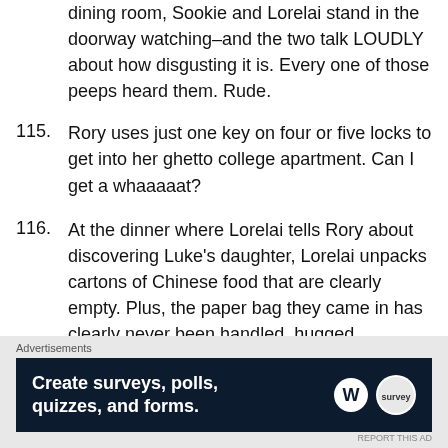dining room, Sookie and Lorelai stand in the doorway watching–and the two talk LOUDLY about how disgusting it is. Every one of those peeps heard them. Rude.
115. Rory uses just one key on four or five locks to get into her ghetto college apartment. Can I get a whaaaaat?
116. At the dinner where Lorelai tells Rory about discovering Luke's daughter, Lorelai unpacks cartons of Chinese food that are clearly empty. Plus, the paper bag they came in has clearly never been handled, hugged, grabbed, or bumped. Super fake.
Advertisements
Create surveys, polls, quizzes, and forms.